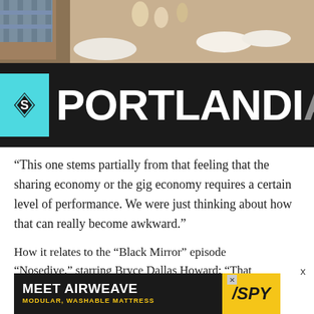[Figure (screenshot): Portlandia TV show title card with food photo background and dark banner with 'PORTLANDIA' text in white bold font on black background with teal/cyan logo element on left]
“This one stems partially from that feeling that the sharing economy or the gig economy requires a certain level of performance. We were just thinking about how that can really become awkward.”
How it relates to the “Black Mirror” episode “Nosedive,” starring Bryce Dallas Howard: “That ‘Black Mirror’ episode came out after we had filmed ours, but we hadn’t
[Figure (advertisement): MEET AIRWEAVE advertisement banner with dark background, yellow text 'MODULAR, WASHABLE MATTRESS' and SPY logo in yellow]